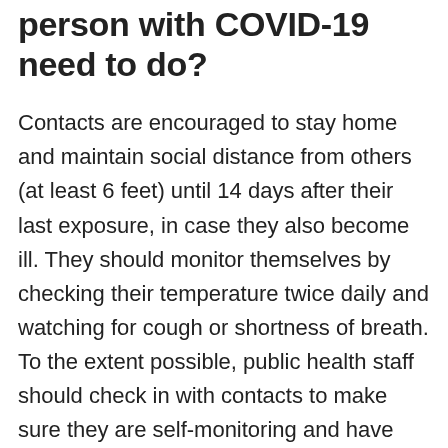person with COVID-19 need to do?
Contacts are encouraged to stay home and maintain social distance from others (at least 6 feet) until 14 days after their last exposure, in case they also become ill. They should monitor themselves by checking their temperature twice daily and watching for cough or shortness of breath. To the extent possible, public health staff should check in with contacts to make sure they are self-monitoring and have not developed symptoms. Contacts who develop symptoms should promptly isolate themselves and notify public health staff. They should be promptly evaluated for infection and for the need for medical care.
Provide honest, accurate, and factual information about the current status of COVID-19. Engage them in decision-making